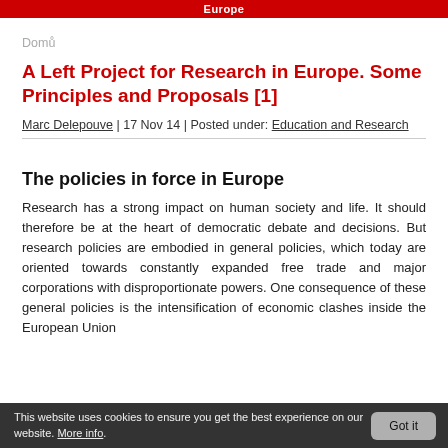Europe
Domů
A Left Project for Research in Europe. Some Principles and Proposals [1]
Marc Delepouve | 17 Nov 14 | Posted under: Education and Research
The policies in force in Europe
Research has a strong impact on human society and life. It should therefore be at the heart of democratic debate and decisions. But research policies are embodied in general policies, which today are oriented towards constantly expanded free trade and major corporations with disproportionate powers. One consequence of these general policies is the intensification of economic clashes inside the European Union
This website uses cookies to ensure you get the best experience on our website. More info.